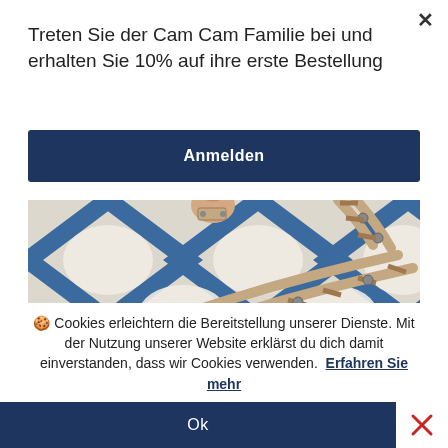Treten Sie der Cam Cam Familie bei und erhalten Sie 10% auf ihre erste Bestellung
Anmelden
[Figure (photo): Close-up photo of a blue and white fluffy rug with wooden toy train tracks laid on top. A child's hand is visible at the top holding a train piece.]
🍪 Cookies erleichtern die Bereitstellung unserer Dienste. Mit der Nutzung unserer Website erklärst du dich damit einverstanden, dass wir Cookies verwenden. Erfahren Sie mehr
Ok